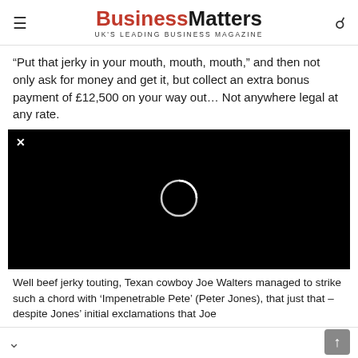Business Matters — UK'S LEADING BUSINESS MAGAZINE
“Put that jerky in your mouth, mouth, mouth,” and then not only ask for money and get it, but collect an extra bonus payment of £12,500 on your way out… Not anywhere legal at any rate.
[Figure (screenshot): Video player with black background showing a loading circle icon and a close (x) button in the top left corner.]
Well beef jerky touting, Texan cowboy Joe Walters managed to strike such a chord with ‘Impenetrable Pete’ (Peter Jones), that just that – despite Jones’ initial exclamations that Joe